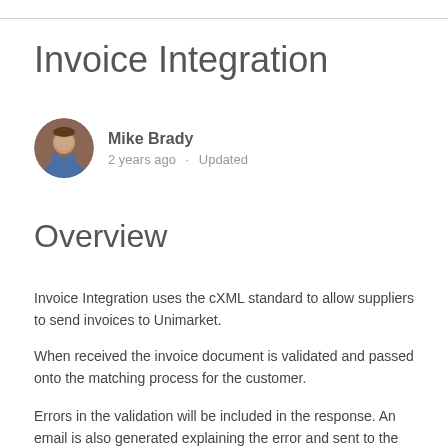Invoice Integration
Mike Brady
2 years ago · Updated
Overview
Invoice Integration uses the cXML standard to allow suppliers to send invoices to Unimarket.
When received the invoice document is validated and passed onto the matching process for the customer.
Errors in the validation will be included in the response. An email is also generated explaining the error and sent to the Invoicing